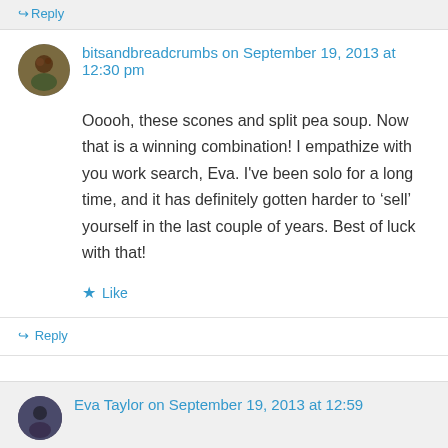↪ Reply
bitsandbreadcrumbs on September 19, 2013 at 12:30 pm
Ooooh, these scones and split pea soup. Now that is a winning combination! I empathize with you work search, Eva. I've been solo for a long time, and it has definitely gotten harder to 'sell' yourself in the last couple of years. Best of luck with that!
★ Like
↪ Reply
Eva Taylor on September 19, 2013 at 12:59